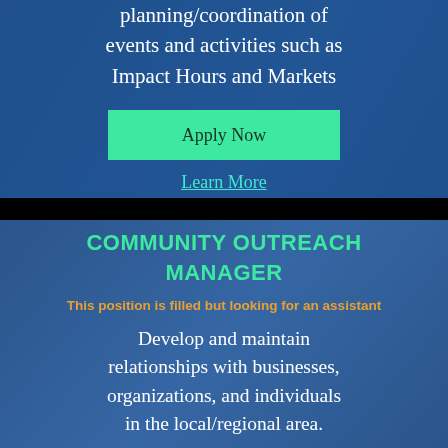planning/coordination of events and activities such as Impact Hours and Markets
Apply Now
Learn More
COMMUNITY OUTREACH MANAGER
This position is filled but looking for an assistant
Develop and maintain relationships with businesses, organizations, and individuals in the local/regional area.